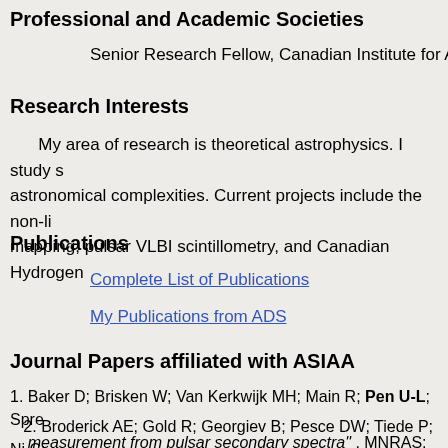Professional and Academic Societies
Senior Research Fellow, Canadian Institute for Adv
Research Interests
My area of research is theoretical astrophysics. I study s astronomical complexities. Current projects include the non-li mapping, pulsar VLBI scintillometry, and Canadian Hydrogen
Publications
Complete List of Publications
My Publications from ADS
Journal Papers affiliated with ASIAA
Baker D; Brisken W; Van Kerkwijk MH; Main R; Pen U-L; Spre measurement from pulsar secondary spectra", MNRAS: 510(
Broderick AE; Gold R; Georgiev B; Pesce DW; Tiede P; Ni C; K; Azulay R; Bach U; Baczko A-K; Ball D; Baloković M; Barret KL; Bower GC; Boyce H; Bremer M; Brinkerink CD; Brissende Carlstrom JE; Ceccobello C; Chael A; Chan C-K; Chatterjee K